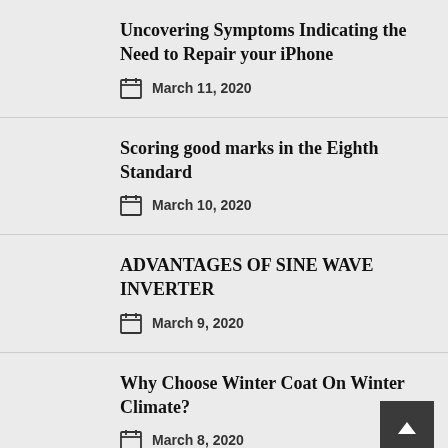Uncovering Symptoms Indicating the Need to Repair your iPhone
March 11, 2020
Scoring good marks in the Eighth Standard
March 10, 2020
ADVANTAGES OF SINE WAVE INVERTER
March 9, 2020
Why Choose Winter Coat On Winter Climate?
March 8, 2020